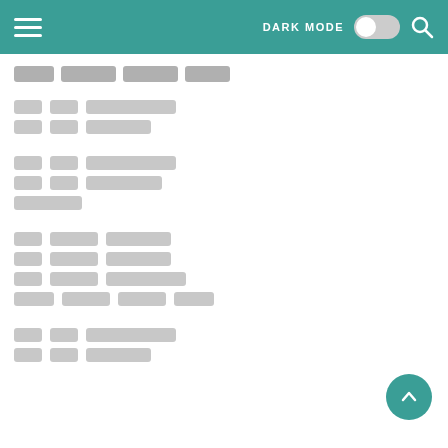DARK MODE [toggle] [search]
[redacted title text - 4 words]
[redacted line 1]
[redacted line 2]
[redacted line 1]
[redacted line 2]
[redacted word]
[redacted line 1]
[redacted line 2]
[redacted line 3]
[redacted line 4]
[redacted line 1]
[redacted line 2]